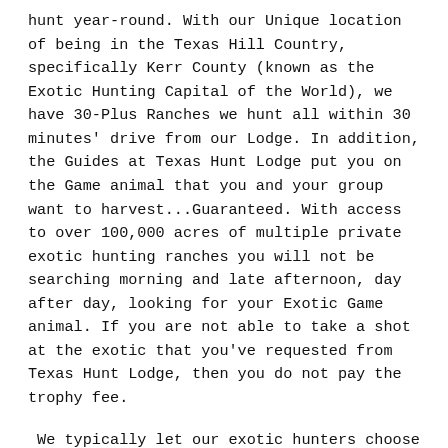hunt year-round.  With our Unique location of being in the Texas Hill Country, specifically Kerr County (known as the Exotic Hunting Capital of the World), we have 30-Plus Ranches we hunt all within 30 minutes' drive from our Lodge.  In addition, the Guides at Texas Hunt Lodge put you on the Game animal that you and your group want to harvest...Guaranteed. With access to over 100,000 acres of multiple private exotic hunting ranches you will not be searching morning and late afternoon, day after day, looking for your Exotic Game animal. If you are not able to take a shot at the exotic that you've requested from Texas Hunt Lodge, then you do not pay the trophy fee.
We typically let our exotic hunters choose the method of exotic hunting that they prefer, if applicable. Texas Exotic Hunters can choose the Spot and Stalk method, Bow Hunting, Rifle Hunting, Black Powder, Safari